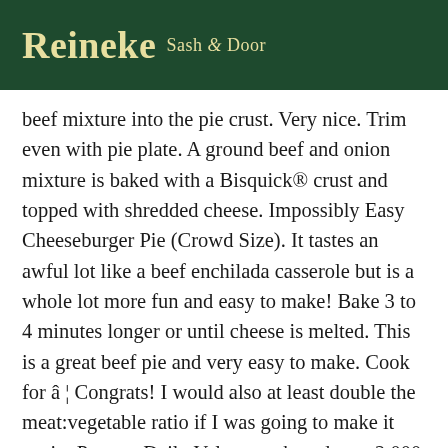Reineke Sash & Door
beef mixture into the pie crust. Very nice. Trim even with pie plate. A ground beef and onion mixture is baked with a Bisquick® crust and topped with shredded cheese. Impossibly Easy Cheeseburger Pie (Crowd Size). It tastes an awful lot like a beef enchilada casserole but is a whole lot more fun and easy to make! Bake 3 to 4 minutes longer or until cheese is melted. This is a great beef pie and very easy to make. Cook for â¦ Congrats! I would also at least double the meat:vegetable ratio if I was going to make it again. Percent Daily Values are based on a 2,000 calorie diet. The filling for the pot pie is a combination of steak, carrots, chicken broth and seasoning. Return the egg mixture back to the original pan with the meat mixture and cook 1-2 more minutes. Bake 24 to 27 minutes or until...